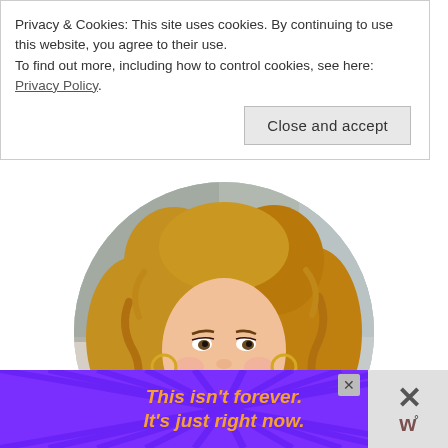Privacy & Cookies: This site uses cookies. By continuing to use this website, you agree to their use.
To find out more, including how to control cookies, see here: Privacy Policy
Close and accept
[Figure (photo): Portrait photo of a smiling young woman with curly blonde/brown hair, wearing a red and white striped top under a denim jacket and a long necklace, shown in a circular crop]
[Figure (infographic): Purple advertisement banner with orange bold italic text reading 'This isn't forever. It's just right now.' with starburst ray lines in background, a close X button, and a brand logo on the right side]